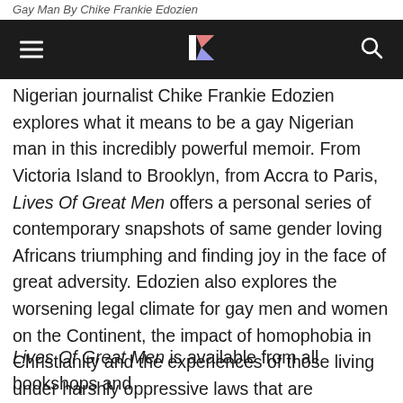Gay Man By Chike Frankie Edozien
Navigation bar with hamburger menu, logo, and search icon
Nigerian journalist Chike Frankie Edozien explores what it means to be a gay Nigerian man in this incredibly powerful memoir. From Victoria Island to Brooklyn, from Accra to Paris, Lives Of Great Men offers a personal series of contemporary snapshots of same gender loving Africans triumphing and finding joy in the face of great adversity. Edozien also explores the worsening legal climate for gay men and women on the Continent, the impact of homophobia in Christianity and the experiences of those living under harshly oppressive laws that are themselves the legacy of colonial rule, and ironically lead to some seeking asylum in the West.
Lives Of Great Men is available from all bookshops and